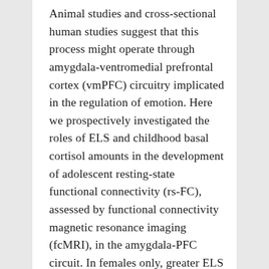Animal studies and cross-sectional human studies suggest that this process might operate through amygdala-ventromedial prefrontal cortex (vmPFC) circuitry implicated in the regulation of emotion. Here we prospectively investigated the roles of ELS and childhood basal cortisol amounts in the development of adolescent resting-state functional connectivity (rs-FC), assessed by functional connectivity magnetic resonance imaging (fcMRI), in the amygdala-PFC circuit. In females only, greater ELS predicted increased childhood cortisol levels, which predicted decreased amygdala-vmPFC rs-FC. I… relation. For females…